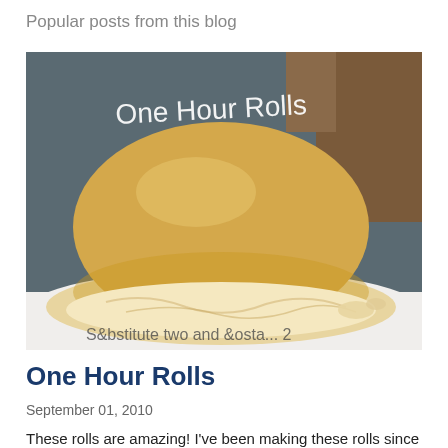Popular posts from this blog
[Figure (photo): A close-up photo of a broken-open dinner roll on a white plate, showing fluffy interior. Text 'One Hour Rolls' written in white handwriting at the top. Partial cursive text visible at the bottom.]
One Hour Rolls
September 01, 2010
These rolls are amazing!  I've been making these rolls since